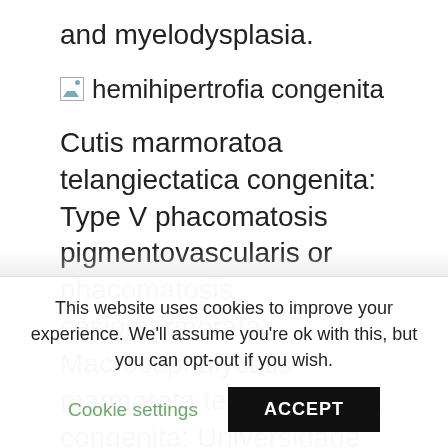and myelodysplasia.
[Figure (photo): Broken/placeholder image icon labeled 'hemihipertrofia congenita']
Cutis marmoratoa telangiectatica congenita: Type V phacomatosis pigmentovascularis or phacomatosis cesiomarmorata. Macrocephalycutis marmorata telangiectatica congenita: Universidade Federal de Minas Gerais, Epilepsy in a child with cutis marmorata telangiectatica
This website uses cookies to improve your experience. We'll assume you're ok with this, but you can opt-out if you wish.
Cookie settings
ACCEPT